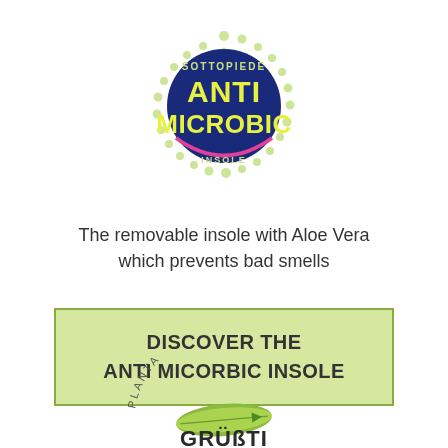[Figure (logo): Anti Microbic insole logo: circular arrangement of green dots around a dark blue circle with yellow text 'ANTI MICROBIC' and text 'SOTTOPIEDE' at top and 'INSOLE' at bottom in pink/magenta arc]
The removable insole with Aloe Vera which prevents bad smells
DISCOVER THE ANTI MICORBIC INSOLE
[Figure (logo): Plantare Comfort logo with a leaf/feather shape and circular text reading 'PLANTARE COMFORT' partially visible at bottom]